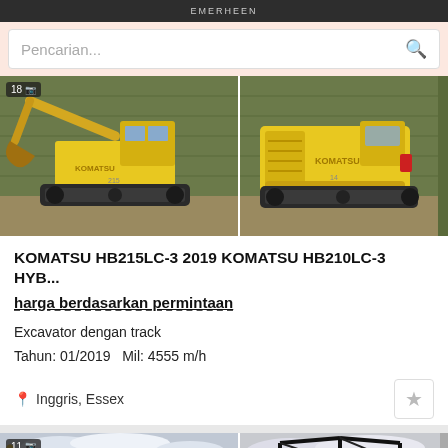Emerheen
Pencarian...
[Figure (photo): Yellow Komatsu HB215LC-3 excavator with track, left side view showing boom and bucket, parked on gravel in front of green metal building]
[Figure (photo): Yellow Komatsu HB210LC-3 hybrid excavator, rear-right view showing engine compartment with red tail light, parked on gravel in front of green metal building]
KOMATSU HB215LC-3 2019 KOMATSU HB210LC-3 HYB...
harga berdasarkan permintaan
Excavator dengan track
Tahun: 01/2019   Mil: 4555 m/h
Inggris, Essex
[Figure (photo): Partial view of another excavator listing - yellow excavator visible at bottom of page]
[Figure (photo): Partial view of another listing showing construction equipment against cloudy sky]